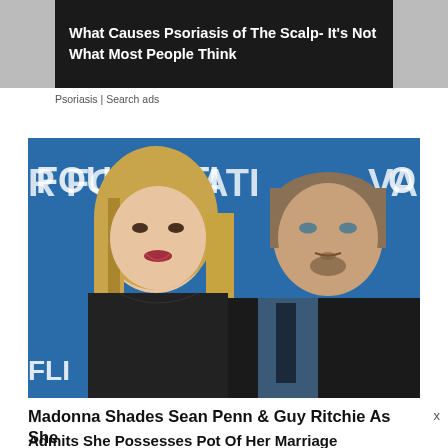[Figure (screenshot): Advertisement banner with dark background showing text about psoriasis of the scalp]
Psoriasis | Search ads
[Figure (photo): Photo of two celebrities (a blonde woman and a man in a dark suit) posing together at a Foundation event with blue backdrop. Text on backdrop reads FOUNDATION and partial letters visible on sides.]
Madonna Shades Sean Penn & Guy Ritchie As She
Admits She Possesses Pot Of Her Marriage